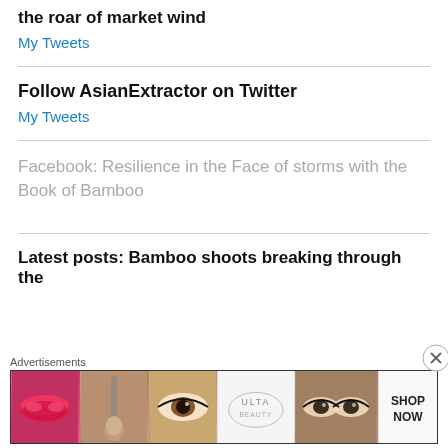the roar of market wind
My Tweets
Follow AsianExtractor on Twitter
My Tweets
Facebook: Resilience in the Face of storms with the Book of Bamboo
Latest posts: Bamboo shoots breaking through the
[Figure (advertisement): Ulta Beauty advertisement banner with makeup images (lips, brush, eye, logo, eyes, Shop Now)]